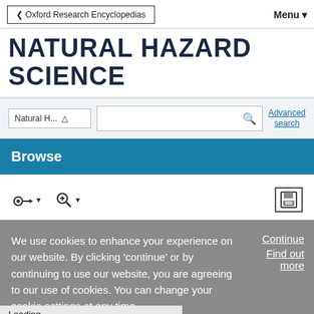Oxford Research Encyclopedias
Menu
NATURAL HAZARD SCIENCE
Natural H... Advanced search
Browse
Cookie notice: We use cookies to enhance your experience on our website. By clicking 'continue' or by continuing to use our website, you are agreeing to our use of cookies. You can change your cookie settings at any time.
Continue
Find out more
Loading [MathJax]/extensions/MathZoom.js